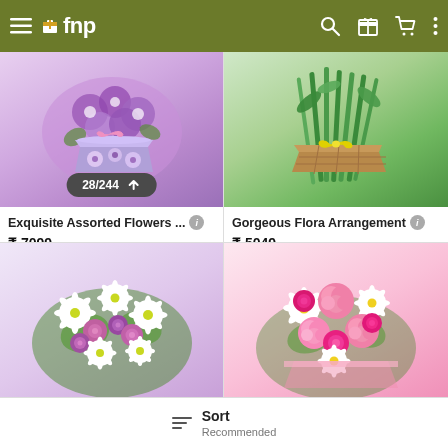fnp
[Figure (photo): Purple flower bucket arrangement - Exquisite Assorted Flowers]
28/244 ↑
[Figure (photo): Green stem flora arrangement in basket - Gorgeous Flora Arrangement]
Exquisite Assorted Flowers ...
₹ 7099
Earliest Delivery: 22 Aug
Gorgeous Flora Arrangement
₹ 5049
Earliest Delivery: 22 Aug
5.0 ★  1 Reviews
[Figure (photo): Pink roses and white daisy bouquet]
[Figure (photo): Pink roses, carnations and white daisy bouquet]
Sort
Recommended